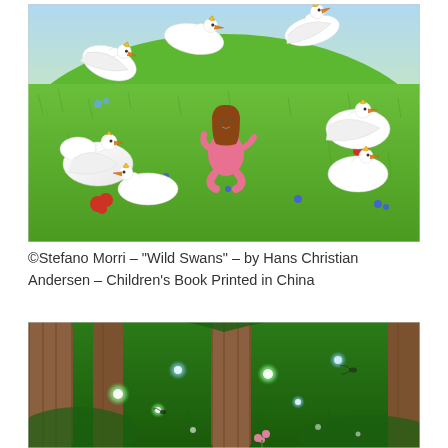[Figure (illustration): Illustration of a girl in a pink dress sitting on a green grassy hillside surrounded by white swans wearing small gold crowns. Blue and red flowers are scattered on the ground. Sky visible in background.]
©Stefano Morri – "Wild Swans" – by Hans Christian Andersen – Children's Book Printed in China
[Figure (illustration): Illustration of a forest clearing at night with glowing orbs of light (fireflies or magical lights) floating among large tree trunks on lush green ground. Pink flowers visible near bottom center.]